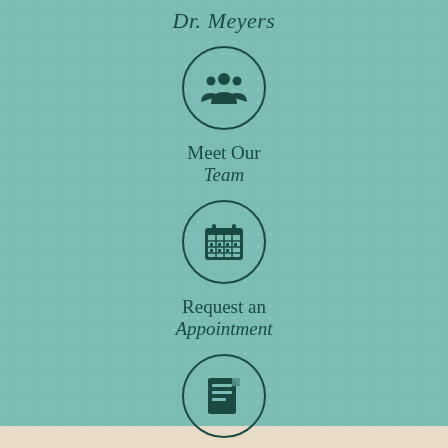Dr. Meyers
[Figure (infographic): Circle icon with group/team symbol representing Meet Our Team navigation item]
Meet Our Team
[Figure (infographic): Circle icon with calendar symbol representing Request an Appointment navigation item]
Request an Appointment
[Figure (infographic): Circle icon with document/forms symbol representing Patient Forms navigation item]
Patient Forms